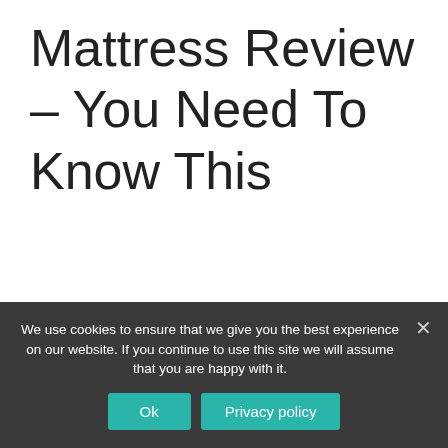Mattress Review – You Need To Know This
Amerisleep has grown from strength to strength in its relatively short life, becoming a leading and renowned brand. It has ended up being a
We use cookies to ensure that we give you the best experience on our website. If you continue to use this site we will assume that you are happy with it.